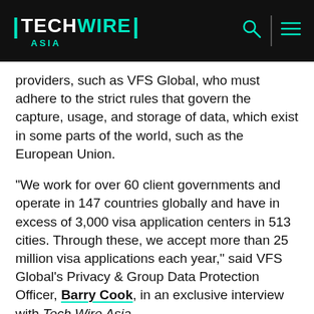TechWire Asia
providers, such as VFS Global, who must adhere to the strict rules that govern the capture, usage, and storage of data, which exist in some parts of the world, such as the European Union.
“We work for over 60 client governments and operate in 147 countries globally and have in excess of 3,000 visa application centers in 513 cities. Through these, we accept more than 25 million visa applications each year,” said VFS Global’s Privacy & Group Data Protection Officer, Barry Cook, in an exclusive interview with Tech Wire Asia.
Cook acknowledges that a lot of information that VFS Global collects is sensitive and requires their